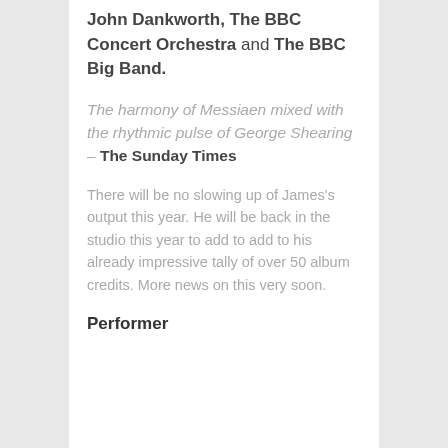John Dankworth, The BBC Concert Orchestra and The BBC Big Band.
The harmony of Messiaen mixed with the rhythmic pulse of George Shearing – The Sunday Times
There will be no slowing up of James's output this year. He will be back in the studio this year to add to add to his already impressive tally of over 50 album credits. More news on this very soon.
Performer